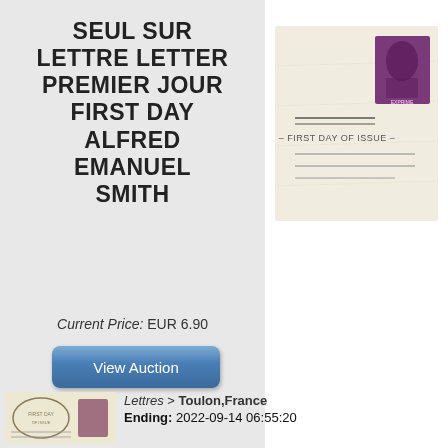SEUL SUR LETTRE LETTER PREMIER JOUR FIRST DAY ALFRED EMANUEL SMITH
Current Price: EUR 6.90
View Auction
[Figure (photo): First Day of Issue envelope/cover with a purple stamp depicting Alfred Emanuel Smith and postmark lines reading '- FIRST DAY OF ISSUE -']
[Figure (photo): Thumbnail of another first day cover envelope with circular postmark and 'FIRST DAY' text visible]
Lettres > Toulon,France
Ending: 2022-09-14 06:55:20